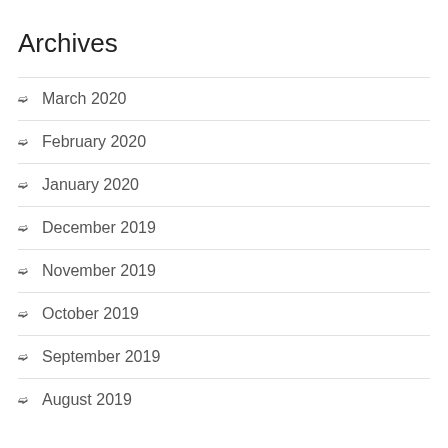Archives
March 2020
February 2020
January 2020
December 2019
November 2019
October 2019
September 2019
August 2019